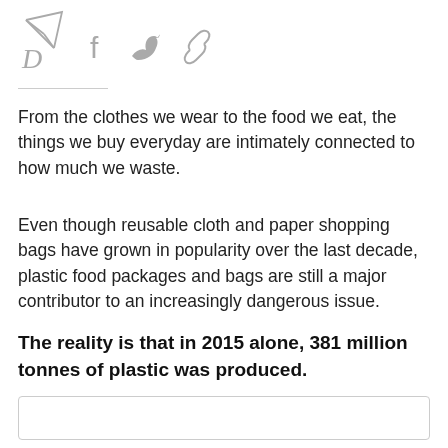[Social share icons: send/email, Facebook, Twitter, link]
From the clothes we wear to the food we eat, the things we buy everyday are intimately connected to how much we waste.
Even though reusable cloth and paper shopping bags have grown in popularity over the last decade, plastic food packages and bags are still a major contributor to an increasingly dangerous issue.
The reality is that in 2015 alone, 381 million tonnes of plastic was produced.